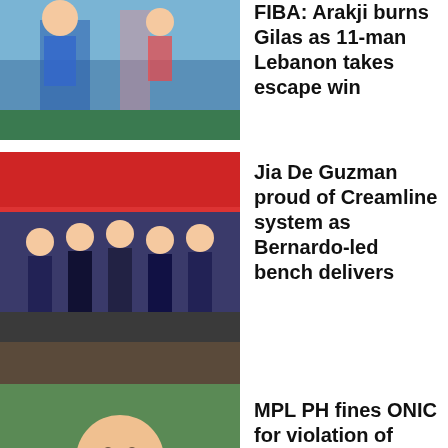[Figure (photo): Basketball players on a court, partial view]
FIBA: Arakji burns Gilas as 11-man Lebanon takes escape win
[Figure (photo): Volleyball team group photo, women in dark uniforms]
Jia De Guzman proud of Creamline system as Bernardo-led bench delivers
[Figure (photo): Man in grey shirt, thinking pose, green background]
MPL PH fines ONIC for violation of roster change rules
[Figure (photo): SMM logo/banner, partial view at bottom]